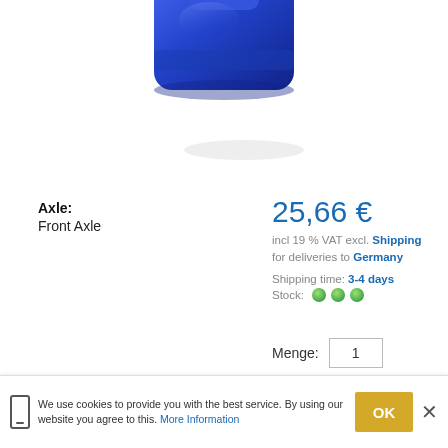[Figure (photo): Blue automotive part (bushing/link kit) shown from above against white background, partially cropped at top]
Axle:
Front Axle
25,66 €
incl 19 % VAT excl. Shipping for deliveries to Germany
Shipping time: 3-4 days
Stock: (3 green dots)
Menge: 1
ADD TO CART
PRODUCT ENQUIRY
9
Sway Bar Link Bush Kit
[Figure (logo): SuperPro suspension parts logo]
We use cookies to provide you with the best service. By using our website you agree to this. More Information